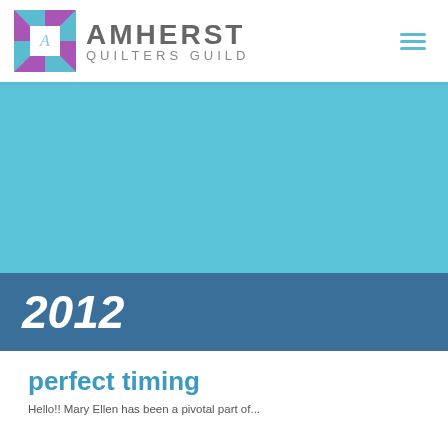[Figure (logo): Amherst Quilters Guild logo: a square quilt block with purple and teal triangular pattern and a white square center with 'A' monogram, beside the text 'AMHERST QUILTERS GUILD']
[Figure (other): Large teal/cyan colored banner image area]
2012
perfect timing
Hello!! Mary Ellen has been a pivotal part of...